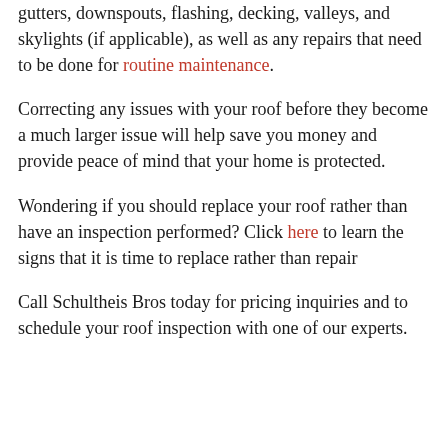gutters, downspouts, flashing, decking, valleys, and skylights (if applicable), as well as any repairs that need to be done for routine maintenance.
Correcting any issues with your roof before they become a much larger issue will help save you money and provide peace of mind that your home is protected.
Wondering if you should replace your roof rather than have an inspection performed? Click here to learn the signs that it is time to replace rather than repair
Call Schultheis Bros today for pricing inquiries and to schedule your roof inspection with one of our experts.